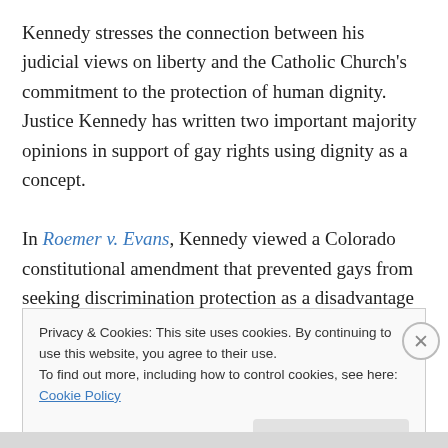Kennedy stresses the connection between his judicial views on liberty and the Catholic Church's commitment to the protection of human dignity. Justice Kennedy has written two important majority opinions in support of gay rights using dignity as a concept.

In Roemer v. Evans, Kennedy viewed a Colorado constitutional amendment that prevented gays from seeking discrimination protection as a disadvantage imposed out of “animosity” to gays. In Lawrence v. Texas, the Supreme Court struck down a state law criminalizing
Privacy & Cookies: This site uses cookies. By continuing to use this website, you agree to their use.
To find out more, including how to control cookies, see here: Cookie Policy